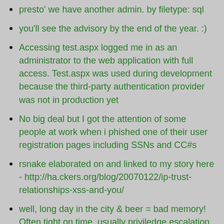presto' we have another admin. by filetype: sql
you'll see the advisory by the end of the year. :)
Accessing test.aspx logged me in as an administrator to the web application with full access. Test.aspx was used during development because the third-party authentication provider was not in production yet
No big deal but I got the attention of some people at work when i phished one of their user registration pages including SSNs and CC#s
rsnake elaborated on and linked to my story here - http://ha.ckers.org/blog/20070122/ip-trust-relationships-xss-and-you/
well, long day in the city & beer = bad memory! Often tight on time, usually priviledge escalation or filter evasion are about as interesting as it gets. bypassing file upload restrictions is always fun.
Nice example of creative and clever web application hack is my space-hack filters bypass technique. Which was introduced at Month of MySpace bugs and was showed at Month of Search Engines Bugs.